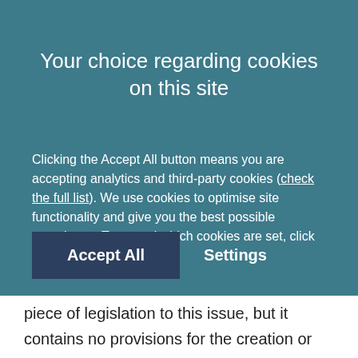Your choice regarding cookies on this site
Clicking the Accept All button means you are accepting analytics and third-party cookies (check the full list). We use cookies to optimise site functionality and give you the best possible experience. To control which cookies are set, click Settings.
Accept All    Settings
piece of legislation to this issue, but it contains no provisions for the creation or removal of